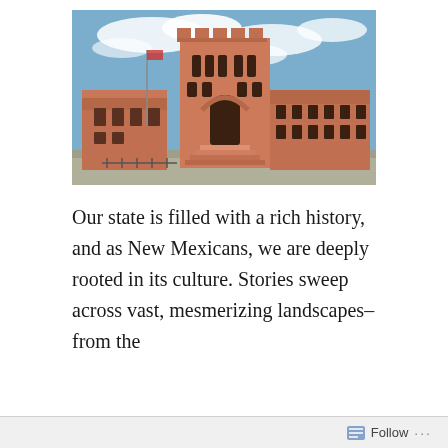[Figure (photo): Exterior photo of a large adobe-style brick building with a central tower featuring crenellated battlements and Moorish arch windows, taken from street level under a partly cloudy blue sky. The building has warm terracotta/salmon-colored walls, wide staircases at the entrance, and extends horizontally with lower wings on each side.]
Our state is filled with a rich history, and as New Mexicans, we are deeply rooted in its culture. Stories sweep across vast, mesmerizing landscapes– from the
Follow ···